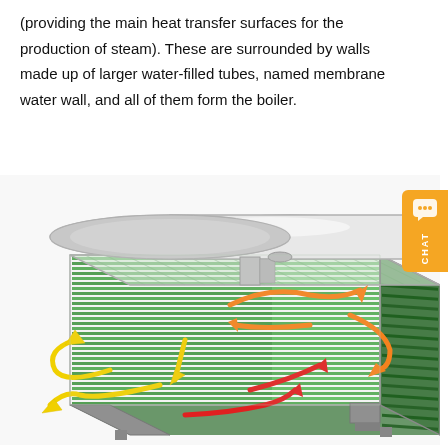(providing the main heat transfer surfaces for the production of steam). These are surrounded by walls made up of larger water-filled tubes, named membrane water wall, and all of them form the boiler.
[Figure (engineering-diagram): Isometric cutaway diagram of an industrial boiler showing layers of heat exchanger tubes (green fins), a large white cylindrical steam drum on top, and colored flow arrows indicating heat transfer paths: yellow arrows at left/bottom, orange arrows in the middle section, and red arrows at lower right, representing different temperature zones of flue gas flow through the boiler.]